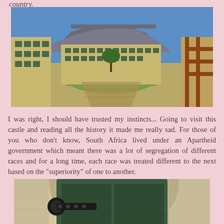country.
[Figure (photo): Panoramic view of a historic castle courtyard with flat-topped Table Mountain in the background under a blue sky. The castle has yellow-ochre walls, multiple windows, and a central green lawn area.]
I was right, I should have trusted my instincts... Going to visit this castle and reading all the history it made me really sad. For those of you who don't know, South Africa lived under an Apartheid government which meant there was a lot of segregation of different races and for a long time, each race was treated different to the next based on the "superiority" of one to another.
[Figure (photo): Close-up photo of an old dark green wooden door with large black metal hinges mounted on a cream/beige stone wall.]